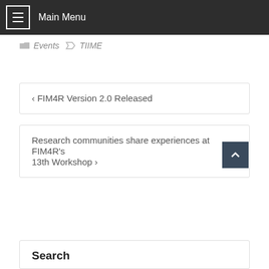Main Menu
Events  TIIME
< FIM4R Version 2.0 Released
Research communities share experiences at FIM4R's 13th Workshop >
Search